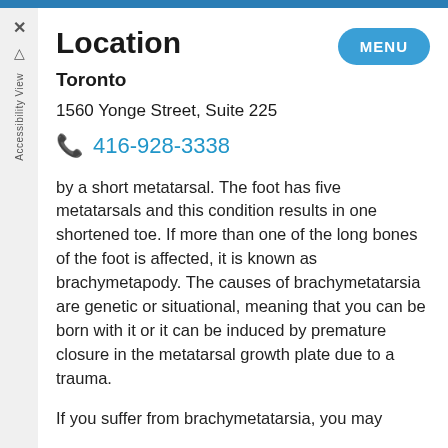Location
Toronto
1560 Yonge Street, Suite 225
416-928-3338
by a short metatarsal. The foot has five metatarsals and this condition results in one shortened toe. If more than one of the long bones of the foot is affected, it is known as brachymetapody. The causes of brachymetatarsia are genetic or situational, meaning that you can be born with it or it can be induced by premature closure in the metatarsal growth plate due to a trauma.
If you suffer from brachymetatarsia, you may find it difficult to…